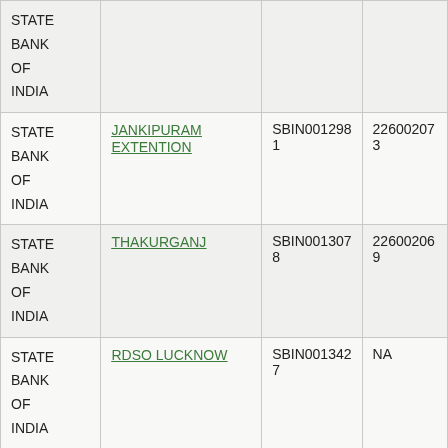| Bank | Branch | IFSC | MICR |
| --- | --- | --- | --- |
| STATE BANK OF INDIA |  |  |  |
| STATE BANK OF INDIA | JANKIPURAM EXTENTION | SBIN0012981 | 226002073 |
| STATE BANK OF INDIA | THAKURGANJ | SBIN0013078 | 226002069 |
| STATE BANK OF INDIA | RDSO LUCKNOW | SBIN0013427 | NA |
| STATE BANK OF INDIA | RBO I LUCKNOW | SBIN0014222 | NA |